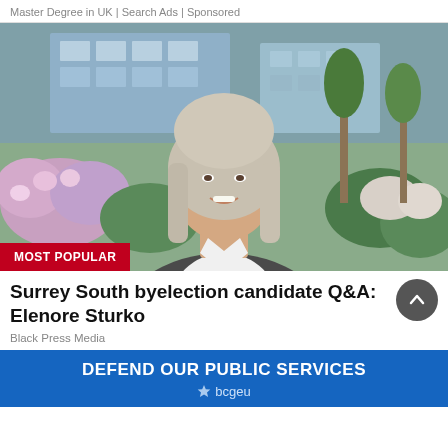Master Degree in UK | Search Ads | Sponsored
[Figure (photo): Portrait photo of Elenore Sturko, a woman with shoulder-length grey and blonde hair, wearing a grey blazer over a white shirt, smiling, with flowering shrubs and a modern building in the background. A red 'MOST POPULAR' badge appears in the bottom-left corner of the image.]
Surrey South byelection candidate Q&A: Elenore Sturko
Black Press Media
[Figure (other): Blue advertisement banner reading 'DEFEND OUR PUBLIC SERVICES' with a bcgeu logo]